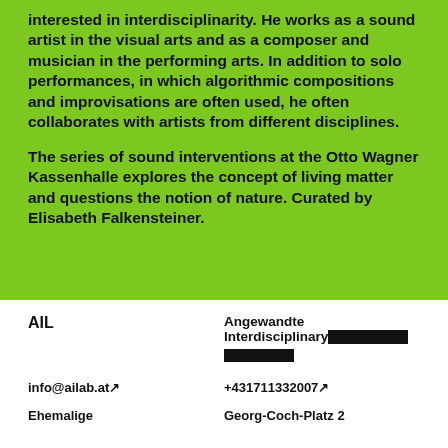interested in interdisciplinarity. He works as a sound artist in the visual arts and as a composer and musician in the performing arts. In addition to solo performances, in which algorithmic compositions and improvisations are often used, he often collaborates with artists from different disciplines.
The series of sound interventions at the Otto Wagner Kassenhalle explores the concept of living matter and questions the notion of nature. Curated by Elisabeth Falkensteiner.
AIL
Angewandte Interdisciplinary Lab
info@ailab.at ↗
+431711332007 ↗
Ehemalige
Georg-Coch-Platz 2